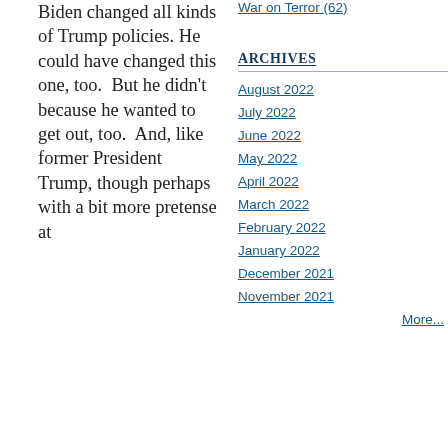Biden changed all kinds of Trump policies. He could have changed this one, too.  But he didn't because he wanted to get out, too.  And, like former President Trump, though perhaps with a bit more pretense at
War on Terror (62)
ARCHIVES
August 2022
July 2022
June 2022
May 2022
April 2022
March 2022
February 2022
January 2022
December 2021
November 2021
More...